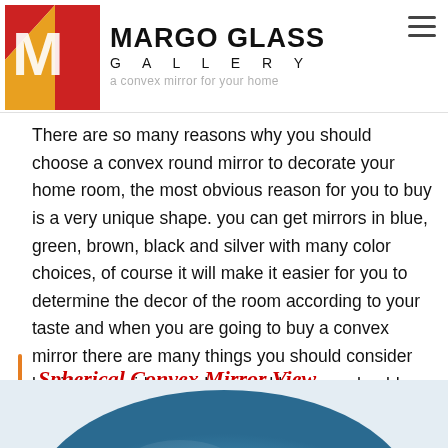MARGO GLASS GALLERY
There are so many reasons why you should choose a convex round mirror to decorate your home room, the most obvious reason for you to buy is a very unique shape. you can get mirrors in blue, green, brown, black and silver with many color choices, of course it will make it easier for you to determine the decor of the room according to your taste and when you are going to buy a convex mirror there are many things you should consider besides considering where and how you should also consider where and how to make the best convex mirror.
Spherical Convex Mirror View
[Figure (photo): Partial view of a spherical convex mirror showing a blue reflective surface, cropped at the bottom of the page]